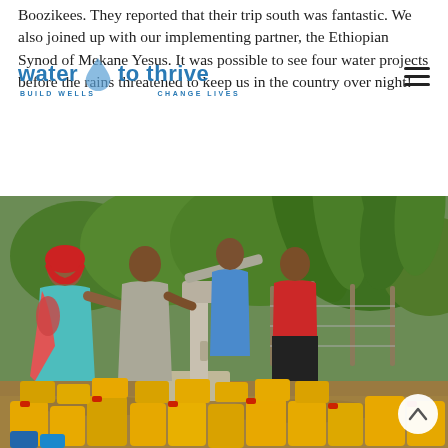Boozikees. They reported that their trip south was fantastic. We also joined up with our implementing partner, the Ethiopian Synod of Mekane Yesus. It was possible to see four water projects before the rains threatened to keep us in the country over night!
[Figure (logo): Water to Thrive logo — blue text reading 'water to thrive' with a water droplet icon and tagline 'BUILD WELLS · CHANGE LIVES']
[Figure (photo): Women and children at a hand pump water well with yellow jerry cans on the ground, surrounded by lush green vegetation in Ethiopia]